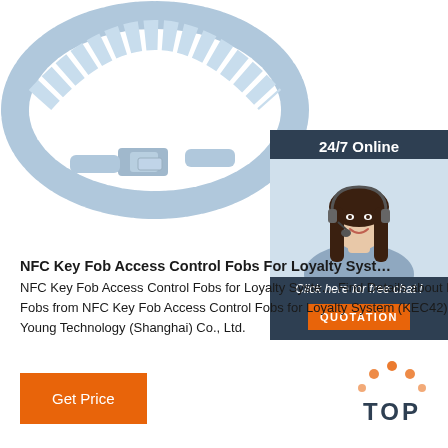[Figure (photo): Product photo of NFC key fob access control wristband/fob, light blue segmented ring with metal clasp, photographed on white background]
[Figure (photo): Customer service agent - woman with headset smiling, overlaid on dark blue panel with 24/7 Online text, Click here for free chat, and QUOTATION button]
NFC Key Fob Access Control Fobs For Loyalty Syst…
NFC Key Fob Access Control Fobs for Loyalty Syste… Find Details about Keyfob, Fobs from NFC Key Fob Access Control Fobs for Loyalty System (KEC42) - Go Young Technology (Shanghai) Co., Ltd.
[Figure (logo): TOP logo with orange dots arranged in triangle/arc above the word TOP in dark blue]
Get Price